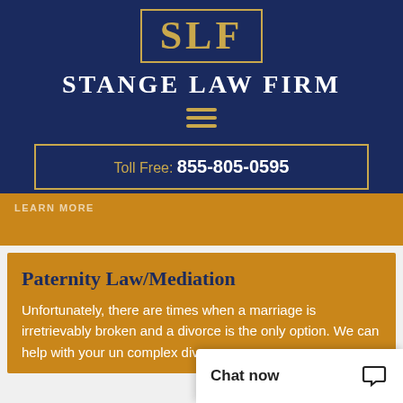[Figure (logo): SLF logo box with gold border and letters SLF in gold on navy background]
Stange Law Firm
Toll Free: 855-805-0595
LEARN MORE
Paternity Law/Mediation
Unfortunately, there are times when a marriage is irretrievably broken and a divorce is the only option. We can help with your un... complex divorce case
Chat now